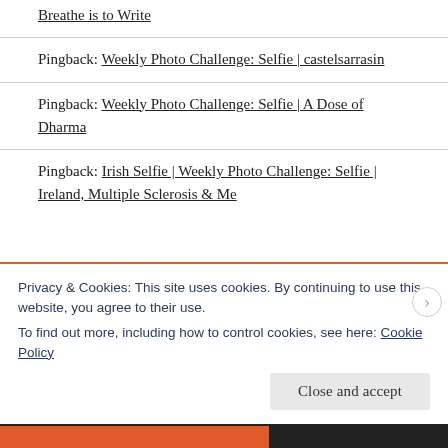Breathe is to Write
Pingback: Weekly Photo Challenge: Selfie | castelsarrasin
Pingback: Weekly Photo Challenge: Selfie | A Dose of Dharma
Pingback: Irish Selfie | Weekly Photo Challenge: Selfie | Ireland, Multiple Sclerosis & Me
Privacy & Cookies: This site uses cookies. By continuing to use this website, you agree to their use.
To find out more, including how to control cookies, see here: Cookie Policy
Close and accept